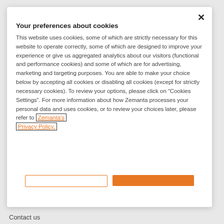Your preferences about cookies
This website uses cookies, some of which are strictly necessary for this website to operate correctly, some of which are designed to improve your experience or give us aggregated analytics about our visitors (functional and performance cookies) and some of which are for advertising, marketing and targeting purposes. You are able to make your choice below by accepting all cookies or disabling all cookies (except for strictly necessary cookies). To review your options, please click on “Cookies Settings”. For more information about how Zemanta processes your personal data and uses cookies, or to review your choices later, please refer to Zemanta's Privacy Policy.
Contact us